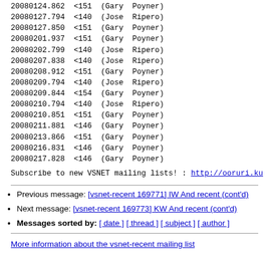20080124.862  <151  (Gary  Poyner)
20080127.794  <140  (Jose  Ripero)
20080127.850  <151  (Gary  Poyner)
20080201.937  <151  (Gary  Poyner)
20080202.799  <140  (Jose  Ripero)
20080207.838  <140  (Jose  Ripero)
20080208.912  <151  (Gary  Poyner)
20080209.794  <140  (Jose  Ripero)
20080209.844  <154  (Gary  Poyner)
20080210.794  <140  (Jose  Ripero)
20080210.851  <151  (Gary  Poyner)
20080211.881  <146  (Gary  Poyner)
20080213.866  <151  (Gary  Poyner)
20080216.831  <146  (Gary  Poyner)
20080217.828  <146  (Gary  Poyner)
Subscribe to new VSNET mailing lists! : http://ooruri.ku...
Previous message: [vsnet-recent 169771] IW And recent (cont'd)
Next message: [vsnet-recent 169773] KW And recent (cont'd)
Messages sorted by: [ date ] [ thread ] [ subject ] [ author ]
More information about the vsnet-recent mailing list